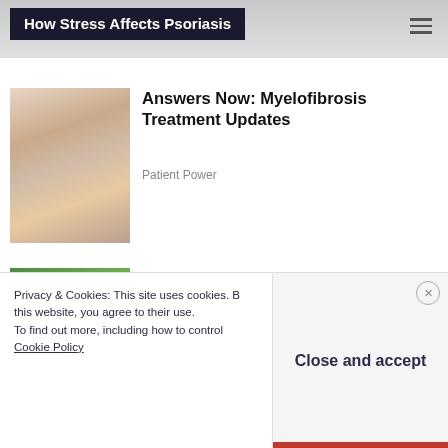[Figure (screenshot): Website header banner showing 'How Stress Affects Psoriasis' title on dark background with hamburger menu icon]
[Figure (photo): Doctor consulting with elderly female patient]
Answers Now: Myelofibrosis Treatment Updates
Patient Power
[Figure (photo): Close-up of fingers holding a plant or pill]
Finding the Right Meds for Your PsO Skin
Privacy & Cookies: This site uses cookies. By continuing to use this website, you agree to their use.
To find out more, including how to control cookies, see here:
Cookie Policy
Close and accept